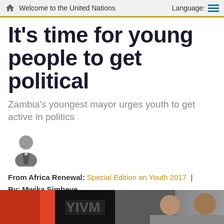Welcome to the United Nations  Language:
It's time for young people to get political
Zambia's youngest mayor urges youth to get active in politics
From Africa Renewal: Special Edition on Youth 2017  |  By: Mwika Simbeye
[Figure (photo): Bottom strip showing partial photo of people, appears to be a cropped image at bottom of page]